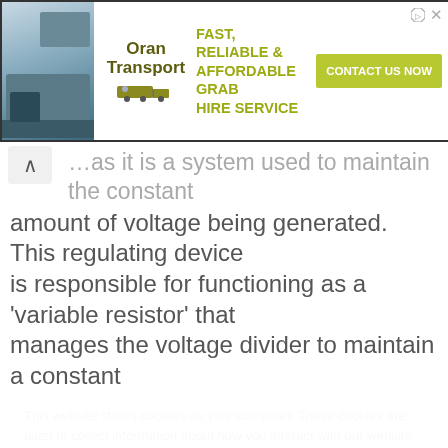[Figure (other): Advertisement banner for Oran Transport showing a truck/vehicle image on left, Oran Transport logo with truck icon, tagline 'FAST, RELIABLE & AFFORDABLE GRAB HIRE SERVICE', and a green 'CONTACT US NOW' button on right]
...as it is a system used to maintain the constant amount of voltage being generated. This regulating device is responsible for functioning as a 'variable resistor' that manages the voltage divider to maintain a constant voltage output while constantly disintegrating the input...
This website stores cookies on your computer. These cookies are used to collect information about how you interact with our website and allow us to remember you. We use this information in order to improve and customize your browsing experience and for analytics and metrics about our visitors both on this website and other media. To find out more about the cookies we use, see our Privacy Policy

If you decline, your information won't be tracked when you visit this website. A single cookie will be used in your browser to remember your preference not to be tracked.